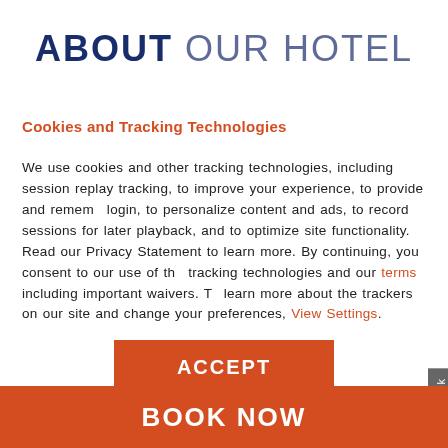ABOUT OUR HOTEL
Cookies and Tracking Technologies
We use cookies and other tracking technologies, including session replay tracking, to improve your experience, to provide and remember login, to personalize content and ads, to record sessions for later playback, and to optimize site functionality. Read our Privacy Statement to learn more. By continuing, you consent to our use of these tracking technologies and our terms including important waivers. To learn more about the trackers on our site and change your preferences, View Settings.
ACCEPT
BOOK NOW